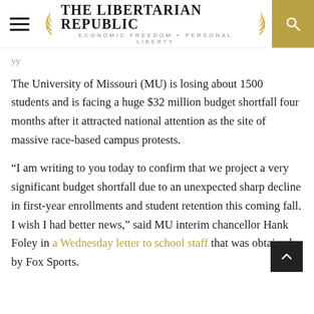THE LIBERTARIAN REPUBLIC — ECONOMIC FREEDOM + PERSONAL LIBERTY
The University of Missouri (MU) is losing about 1500 students and is facing a huge $32 million budget shortfall four months after it attracted national attention as the site of massive race-based campus protests.
"I am writing to you today to confirm that we project a very significant budget shortfall due to an unexpected sharp decline in first-year enrollments and student retention this coming fall. I wish I had better news," said MU interim chancellor Hank Foley in a Wednesday letter to school staff that was obtained by Fox Sports.